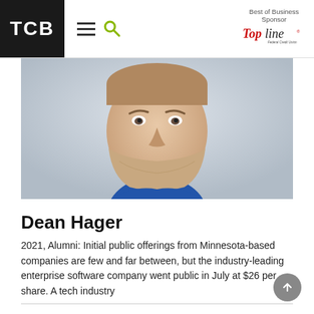TCB | Best of Business Sponsor — TopLine Federal Credit Union
[Figure (photo): Headshot of Dean Hager, a smiling middle-aged man with short hair and a beard, wearing a blue shirt, against a light grey background.]
Dean Hager
2021, Alumni: Initial public offerings from Minnesota-based companies are few and far between, but the industry-leading enterprise software company went public in July at $26 per share. A tech industry